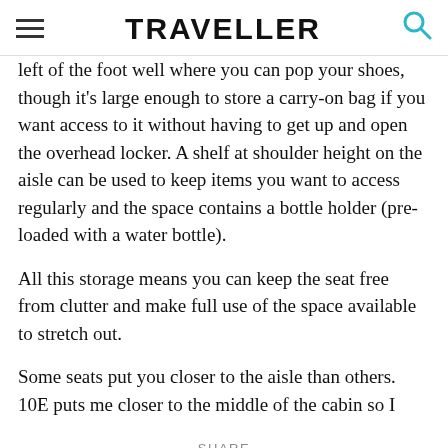TRAVELLER
left of the foot well where you can pop your shoes, though it's large enough to store a carry-on bag if you want access to it without having to get up and open the overhead locker. A shelf at shoulder height on the aisle can be used to keep items you want to access regularly and the space contains a bottle holder (pre-loaded with a water bottle).
All this storage means you can keep the seat free from clutter and make full use of the space available to stretch out.
Some seats put you closer to the aisle than others. 10E puts me closer to the middle of the cabin so I
SHARE
[Figure (infographic): Social share buttons: Facebook, Twitter, Email, Pinterest, Google+]